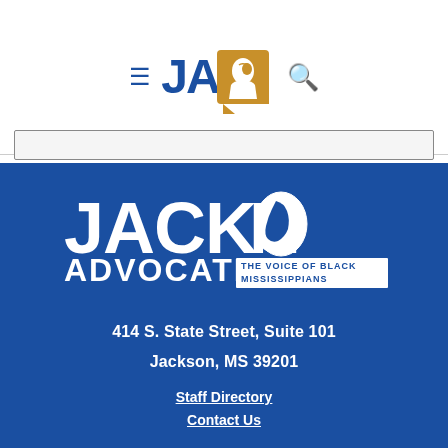Jackson Advocate - navigation header with hamburger menu, JA logo, and search icon
[Figure (logo): Jackson Advocate logo — JACKSON ADVOCATE | THE VOICE OF BLACK MISSISSIPPIANS — white text on blue background with profile silhouette]
414 S. State Street, Suite 101
Jackson, MS 39201
Staff Directory
Contact Us
CONNECT WITH US